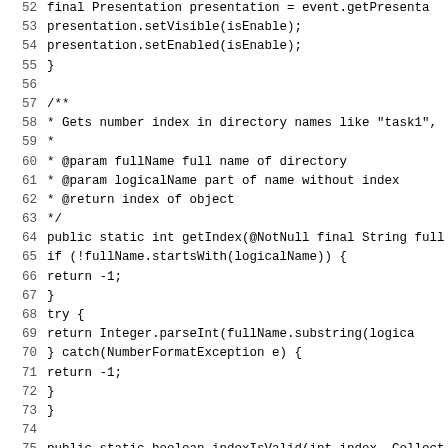Source code listing lines 52-83, Java programming language